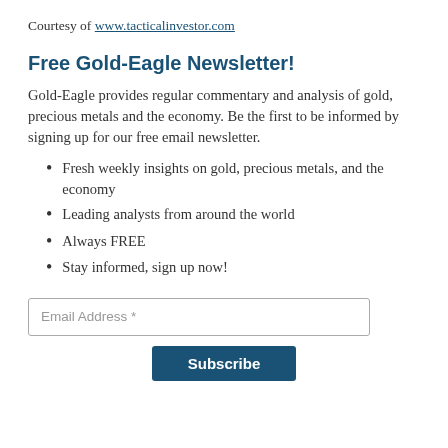Courtesy of www.tacticalinvestor.com
Free Gold-Eagle Newsletter!
Gold-Eagle provides regular commentary and analysis of gold, precious metals and the economy. Be the first to be informed by signing up for our free email newsletter.
Fresh weekly insights on gold, precious metals, and the economy
Leading analysts from around the world
Always FREE
Stay informed, sign up now!
Email Address *
Subscribe